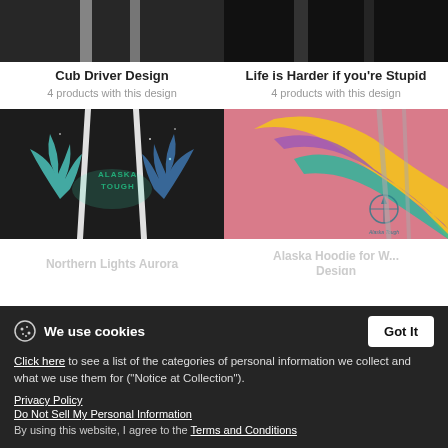[Figure (photo): Dark hoodie product photo - Cub Driver Design]
Cub Driver Design
4 products with this design
[Figure (photo): Dark hoodie product photo - Life is Harder if you're Stupid]
Life is Harder if you're Stupid
4 products with this design
[Figure (photo): Dark hoodie with Aurora moose Alaska Tough design]
Northern Lights Aurora
12 products with this design
[Figure (photo): Pink hoodie with colorful Alaska Tough cat/animal design]
Alaska Hoodie for W... Design
Cookie banner overlay
[Figure (photo): Bottom left dark product image]
[Figure (photo): Bottom right product image with Alaska Tough text]